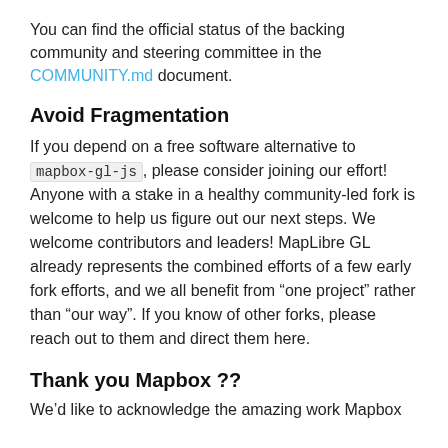You can find the official status of the backing community and steering committee in the COMMUNITY.md document.
Avoid Fragmentation
If you depend on a free software alternative to mapbox-gl-js, please consider joining our effort! Anyone with a stake in a healthy community-led fork is welcome to help us figure out our next steps. We welcome contributors and leaders! MapLibre GL already represents the combined efforts of a few early fork efforts, and we all benefit from “one project” rather than “our way”. If you know of other forks, please reach out to them and direct them here.
Thank you Mapbox ??
We’d like to acknowledge the amazing work Mapbox